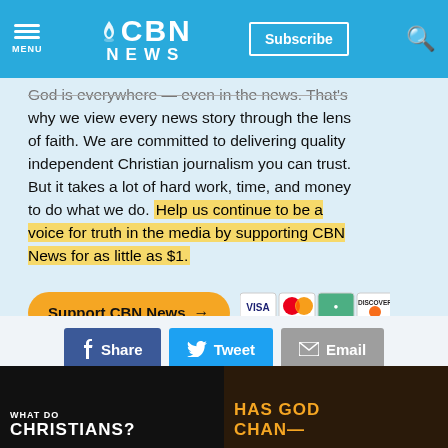[Figure (screenshot): CBN News website header with blue background, hamburger menu icon with MENU label, CBN NEWS logo with flame icon, Subscribe button, and search icon]
God is everywhere — even in the news. That's why we view every news story through the lens of faith. We are committed to delivering quality independent Christian journalism you can trust. But it takes a lot of hard work, time, and money to do what we do. Help us continue to be a voice for truth in the media by supporting CBN News for as little as $1.
[Figure (screenshot): Orange 'Support CBN News →' button with payment card icons (Visa, MasterCard, green card, Discover)]
[Figure (screenshot): Social sharing buttons: Facebook Share, Twitter Tweet, Email]
[Figure (screenshot): Two thumbnail images at bottom: 'WHAT DO CHRISTIANS ?' and 'HAS GOD CHANGED']